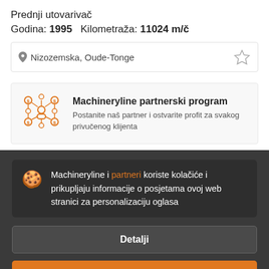Prednji utovarivač
Godina: 1995  Kilometraža: 11024 m/č
Nizozemska, Oude-Tonge
Machineryline partnerski program
Postanite naš partner i ostvarite profit za svakog privučenog klijenta
Machineryline i partneri koriste kolačiće i prikupljaju informacije o posjetama ovoj web stranici za personalizaciju oglasa
Detalji
Slažem se i zatvori